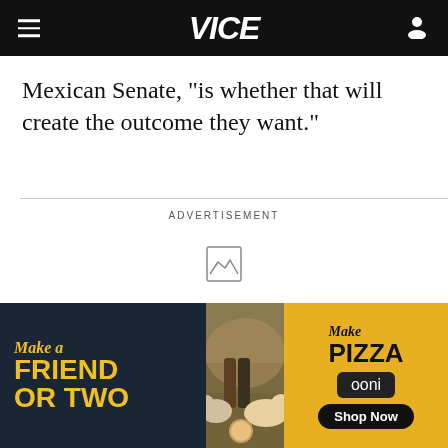VICE
Mexican Senate, "is whether that will create the outcome they want."
ADVERTISEMENT
[Figure (photo): Ooni pizza oven advertisement banner showing 'Make a Friend or Two' text on left, outdoor picnic photo in center with dogs and people, 'Make Pizza / ooni / Shop Now' on right yellow panel]